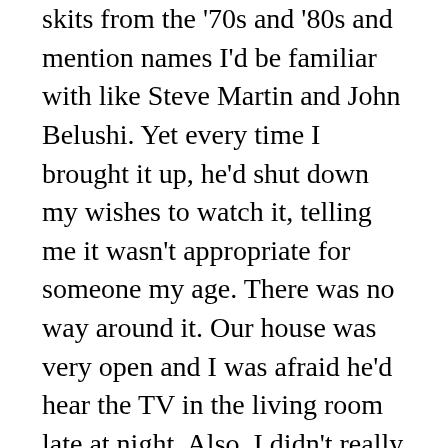skits from the '70s and '80s and mention names I'd be familiar with like Steve Martin and John Belushi. Yet every time I brought it up, he'd shut down my wishes to watch it, telling me it wasn't appropriate for someone my age. There was no way around it. Our house was very open and I was afraid he'd hear the TV in the living room late at night. Also, I didn't really know how to operate the remote. It was mainly the latter holding me back.

But then my parents got divorced and my dad had almost zero authority over me. OK, that's not true at all, but it was definitely a lot easier to peruse NBC's listings when I was only confronted with his television restrictions